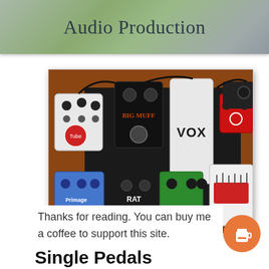Audio Production
[Figure (photo): A pedalboard with multiple guitar effects pedals including a VOX wah pedal, Big Muff, RAT distortion, Proco, Boss, and other pedals arranged on a wooden surface.]
Thanks for reading. You can buy me a coffee to support this site.
Single Pedals